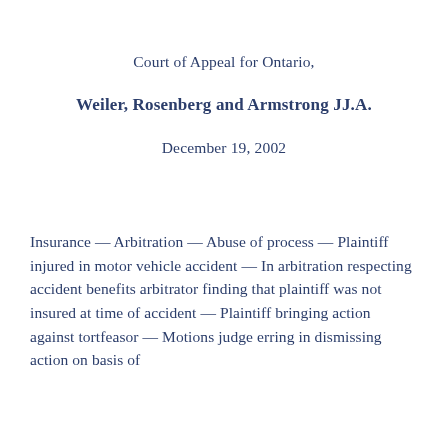Court of Appeal for Ontario,
Weiler, Rosenberg and Armstrong JJ.A.
December 19, 2002
Insurance — Arbitration — Abuse of process — Plaintiff injured in motor vehicle accident — In arbitration respecting accident benefits arbitrator finding that plaintiff was not insured at time of accident — Plaintiff bringing action against tortfeasor — Motions judge erring in dismissing action on basis of